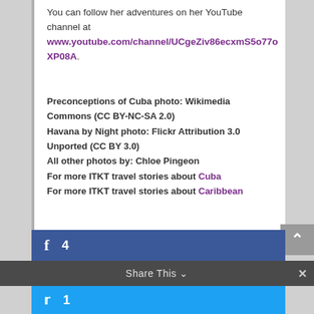You can follow her adventures on her YouTube channel at www.youtube.com/channel/UCgeZiv86ecxmS5o77oXP08A.
Preconceptions of Cuba photo: Wikimedia Commons (CC BY-NC-SA 2.0)
Havana by Night photo: Flickr Attribution 3.0 Unported (CC BY 3.0)
All other photos by: Chloe Pingeon
For more ITKT travel stories about Cuba
For more ITKT travel stories about Caribbean